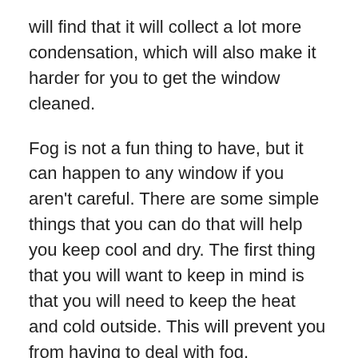will find that it will collect a lot more condensation, which will also make it harder for you to get the window cleaned.
Fog is not a fun thing to have, but it can happen to any window if you aren't careful. There are some simple things that you can do that will help you keep cool and dry. The first thing that you will want to keep in mind is that you will need to keep the heat and cold outside. This will prevent you from having to deal with fog.
One thing that many people struggle with when it comes to dealing with foggy windows is keeping the heat inside. In most cases, the best way to go about doing this is to purchase an air conditioner. These are extremely efficient at keeping the heat inside and at the same time will reduce the amount of humidity that is in the air. This will help you keep the temperature in your house more consistent. The last thing that you